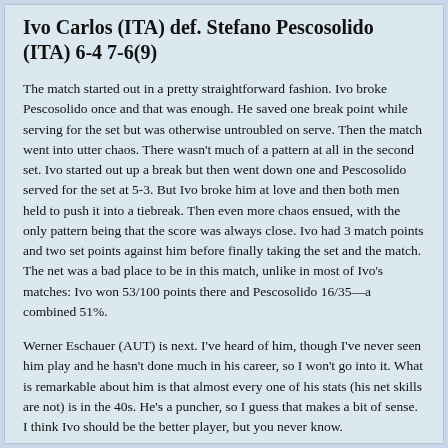Ivo Carlos (ITA) def. Stefano Pescosolido (ITA) 6-4 7-6(9)
The match started out in a pretty straightforward fashion. Ivo broke Pescosolido once and that was enough. He saved one break point while serving for the set but was otherwise untroubled on serve. Then the match went into utter chaos. There wasn't much of a pattern at all in the second set. Ivo started out up a break but then went down one and Pescosolido served for the set at 5-3. But Ivo broke him at love and then both men held to push it into a tiebreak. Then even more chaos ensued, with the only pattern being that the score was always close. Ivo had 3 match points and two set points against him before finally taking the set and the match. The net was a bad place to be in this match, unlike in most of Ivo's matches: Ivo won 53/100 points there and Pescosolido 16/35—a combined 51%.
Werner Eschauer (AUT) is next. I've heard of him, though I've never seen him play and he hasn't done much in his career, so I won't go into it. What is remarkable about him is that almost every one of his stats (his net skills are not) is in the 40s. He's a puncher, so I guess that makes a bit of sense. I think Ivo should be the better player, but you never know.